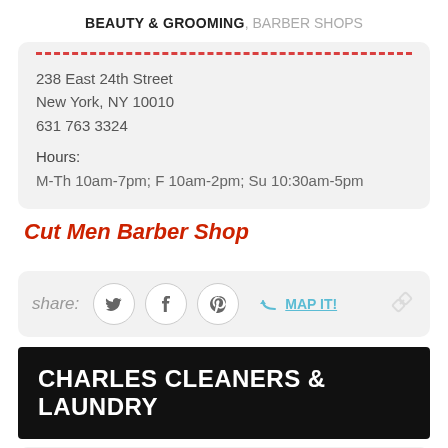BEAUTY & GROOMING, BARBER SHOPS
238 East 24th Street
New York, NY 10010
631 763 3324

Hours:
M-Th 10am-7pm; F 10am-2pm; Su 10:30am-5pm
Cut Men Barber Shop
share:
CHARLES CLEANERS & LAUNDRY